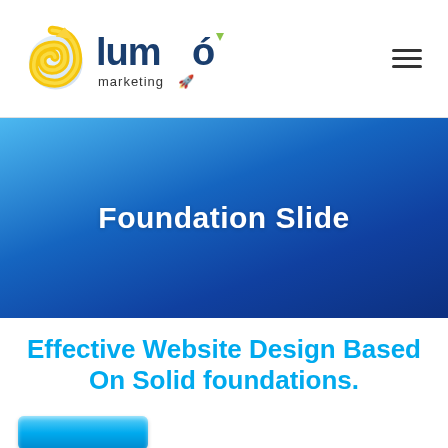[Figure (logo): Lumo Marketing logo with swirl globe icon and blue text]
Foundation Slide
Effective Website Design Based On Solid foundations.